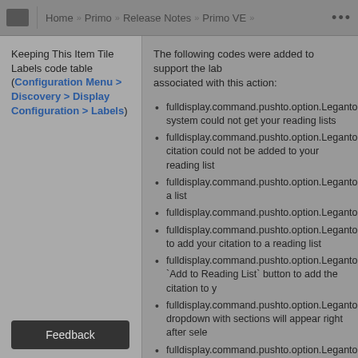Home » Primo » Release Notes » Primo VE »
Keeping This Item Tile Labels code table (Configuration Menu > Discovery > Display Configuration > Labels)
The following codes were added to support the labels associated with this action:
fulldisplay.command.pushto.option.LegantoPushTo... system could not get your reading lists
fulldisplay.command.pushto.option.LegantoPushTo... citation could not be added to your reading list
fulldisplay.command.pushto.option.LegantoPushTo... a list
fulldisplay.command.pushto.option.LegantoPushTo...
fulldisplay.command.pushto.option.LegantoPushTo... to add your citation to a reading list
fulldisplay.command.pushto.option.LegantoPushTo... `Add to Reading List` button to add the citation to y...
fulldisplay.command.pushto.option.LegantoPushTo... dropdown with sections will appear right after sele...
fulldisplay.command.pushto.option.LegantoPushTo...
fulldisplay.command.pushto.option.LegantoPushTo...
fulldisplay.command.pushto.option.LegantoPushTo...
fulldisplay.command.pushto.option.LegantoPushTo...